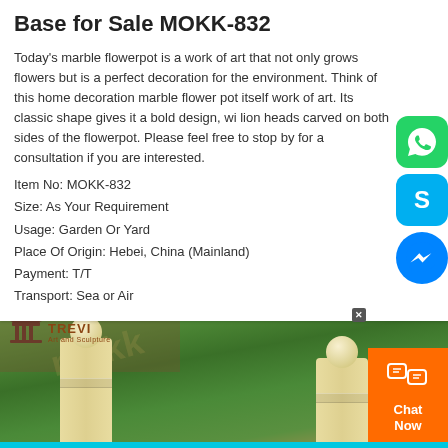Base for Sale MOKK-832
Today's marble flowerpot is a work of art that not only grows flowers but is a perfect decoration for the environment. Think of this home decoration marble flower pot itself work of art. Its classic shape gives it a bold design, wi lion heads carved on both sides of the flowerpot. Please feel free to stop by for a consultation if you are interested.
Item No: MOKK-832
Size: As Your Requirement
Usage: Garden Or Yard
Place Of Origin: Hebei, China (Mainland)
Payment: T/T
Transport: Sea or Air
[Figure (photo): Product photo showing white marble decorative pillars/flowerpot bases with ball finials, set against a lush green garden background with Trevi Art and Sculpture logo watermark]